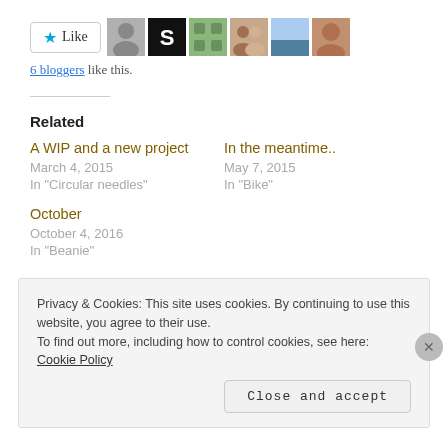[Figure (other): Like button with star icon and 6 blogger avatar thumbnails]
6 bloggers like this.
Related
A WIP and a new project
March 4, 2015
In "Circular needles"
In the meantime..
May 7, 2015
In "Bike"
October
October 4, 2016
In "Beanie"
Privacy & Cookies: This site uses cookies. By continuing to use this website, you agree to their use.
To find out more, including how to control cookies, see here: Cookie Policy
Close and accept